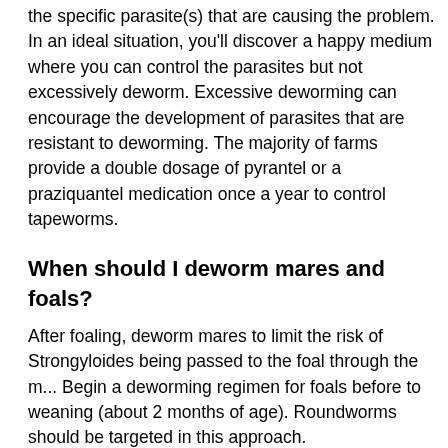the specific parasite(s) that are causing the problem. In an ideal situation, you'll discover a happy medium where you can control the parasites but not excessively deworm. Excessive deworming can encourage the development of parasites that are resistant to deworming. The majority of farms provide a double dosage of pyrantel or a praziquantel medication once a year to control tapeworms.
When should I deworm mares and foals?
After foaling, deworm mares to limit the risk of Strongyloides being passed to the foal through the milk. Begin a deworming regimen for foals before to weaning (about 2 months of age). Roundworms should be targeted in this approach.